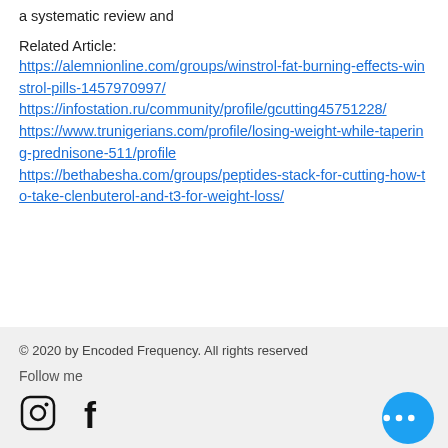a systematic review and
Related Article:
https://alemnionline.com/groups/winstrol-fat-burning-effects-winstrol-pills-1457970997/
https://infostation.ru/community/profile/gcutting45751228/
https://www.trunigerians.com/profile/losing-weight-while-tapering-prednisone-511/profile
https://bethabesha.com/groups/peptides-stack-for-cutting-how-to-take-clenbuterol-and-t3-for-weight-loss/
© 2020 by Encoded Frequency. All rights reserved
Follow me
[Figure (illustration): Instagram and Facebook social media icons, and a blue circular button with three dots (more options)]